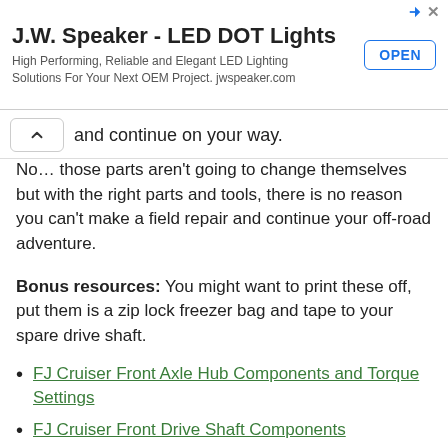[Figure (screenshot): Advertisement banner for J.W. Speaker LED DOT Lights with OPEN button]
and continue on your way.
No… those parts aren't going to change themselves but with the right parts and tools, there is no reason you can't make a field repair and continue your off-road adventure.
Bonus resources: You might want to print these off, put them is a zip lock freezer bag and tape to your spare drive shaft.
FJ Cruiser Front Axle Hub Components and Torque Settings
FJ Cruiser Front Drive Shaft Components
FJ Cruiser Front Drive Shaft Removal, Repair, Install Bulletin